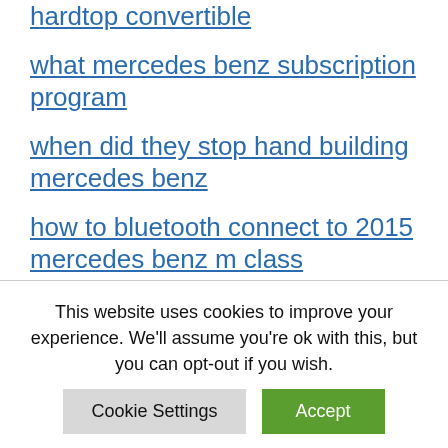hardtop convertible
what mercedes benz subscription program
when did they stop hand building mercedes benz
how to bluetooth connect to 2015 mercedes benz m class
how long does it take to go from the buckhead marta station to the mercedes-benz stadium
This website uses cookies to improve your experience. We'll assume you're ok with this, but you can opt-out if you wish.